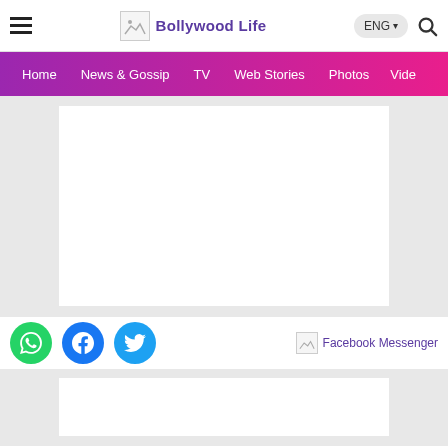Bollywood Life
Home | News & Gossip | TV | Web Stories | Photos | Vide
[Figure (other): Advertisement placeholder area (white rectangle on grey background)]
[Figure (other): Social sharing icons: WhatsApp (green), Facebook (blue), Twitter (light blue), and Facebook Messenger label on right]
[Figure (other): Second advertisement placeholder area]
HOME | WEBSTORIES | VIDEOS | MOVIES | CELEB